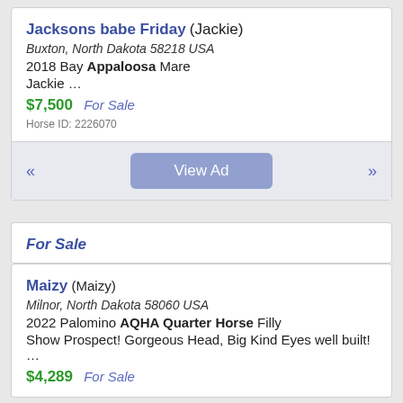Jacksons babe Friday (Jackie)
Buxton, North Dakota 58218 USA
2018 Bay Appaloosa Mare
Jackie …
$7,500  For Sale
Horse ID: 2226070
View Ad
For Sale
Maizy (Maizy)
Milnor, North Dakota 58060 USA
2022 Palomino AQHA Quarter Horse Filly
Show Prospect! Gorgeous Head, Big Kind Eyes well built! …
$4,289  For Sale